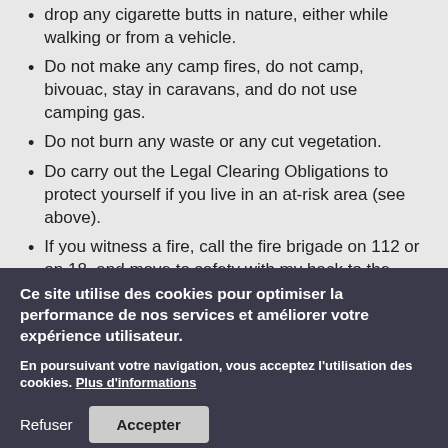drop any cigarette butts in nature, either while walking or from a vehicle.
Do not make any camp fires, do not camp, bivouac, stay in caravans, and do not use camping gas.
Do not burn any waste or any cut vegetation.
Do carry out the Legal Clearing Obligations to protect yourself if you live in an at-risk area (see above).
If you witness a fire, call the fire brigade on 112 or on 18, and move to safety with my back to the wind, do not go towards the source of the smoke or fire.
Ce site utilise des cookies pour optimiser la performance de nos services et améliorer votre expérience utilisateur.
En poursuivant votre navigation, vous acceptez l'utilisation des cookies. Plus d'informations
Refuser
Accepter